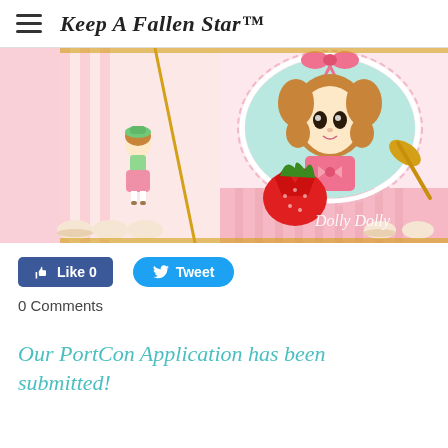Keep A Fallen Star™
[Figure (illustration): Anime-style illustration titled 'Dolly Dolly' featuring cute cartoon girls in lolita fashion, strawberries, macarons and decorative elements in pink and mint colors]
Like 0   Tweet
0 Comments
Our PortCon Application has been submitted!